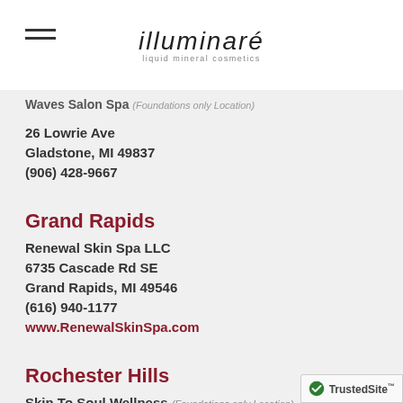illuminaré liquid mineral cosmetics
Waves Salon Spa (Foundations only Location)
26 Lowrie Ave
Gladstone, MI 49837
(906) 428-9667
Grand Rapids
Renewal Skin Spa LLC
6735 Cascade Rd SE
Grand Rapids, MI 49546
(616) 940-1177
www.RenewalSkinSpa.com
Rochester Hills
Skin To Soul Wellness (Foundations only Location)
1460 Walton Blvd, Ste 212
Rochester Hills, MI 48309
(248) 608-9240